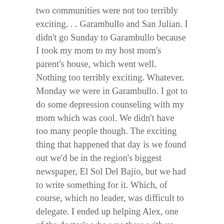two communities were not too terribly exciting. . . Garambullo and San Julian. I didn't go Sunday to Garambullo because I took my mom to my host mom's parent's house, which went well. Nothing too terribly exciting. Whatever. Monday we were in Garambullo. I got to do some depression counseling with my mom which was cool. We didn't have too many people though. The exciting thing that happened that day is we found out we'd be in the region's biggest newspaper, El Sol Del Bajío, but we had to write something for it. Which, of course, which no leader, was difficult to delegate. I ended up helping Alex, one of the doctor's who was there with us and is Peruvian, to write the damned thing. But it was just fine–we got it done and it got into the paper, though it says that I wrote our little statement.
The next two days in San Julian went well, but were also pretty not-well-attended. Wednesday I spent about 4 hours sharing music with the students (taking it off of their iPods